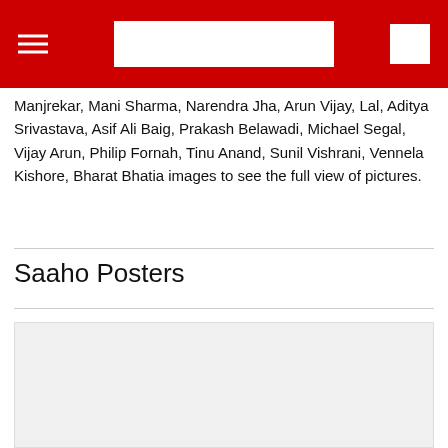[navigation bar with hamburger menu, search box, and menu icon on red background]
Manjrekar, Mani Sharma, Narendra Jha, Arun Vijay, Lal, Aditya Srivastava, Asif Ali Baig, Prakash Belawadi, Michael Segal, Vijay Arun, Philip Fornah, Tinu Anand, Sunil Vishrani, Vennela Kishore, Bharat Bhatia images to see the full view of pictures.
Saaho Posters
[Figure (photo): Large image placeholder area (light gray background), partially visible at bottom of page]